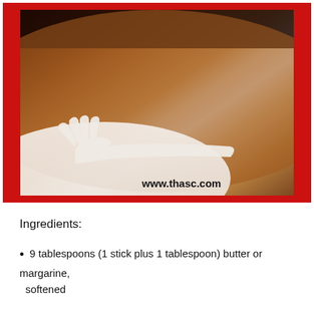[Figure (photo): Close-up photo of a dessert (tiramisu or similar) with cocoa powder dusted on a white plate, showing a white fork silhouette shape in the cocoa. Website watermark 'www.thasc.com' visible at bottom of photo. Photo framed with red border.]
Ingredients:
9 tablespoons (1 stick plus 1 tablespoon) butter or margarine, softened